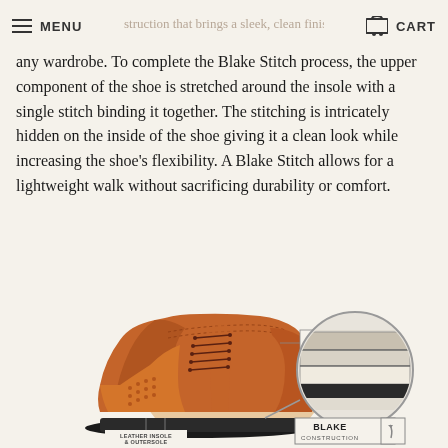MENU  CART
any wardrobe. To complete the Blake Stitch process, the upper component of the shoe is stretched around the insole with a single stitch binding it together. The stitching is intricately hidden on the inside of the shoe giving it a clean look while increasing the shoe's flexibility. A Blake Stitch allows for a lightweight walk without sacrificing durability or comfort.
[Figure (illustration): Cutaway illustration of a tan brogue Oxford shoe with labels: 'FULL GRAIN LEATHER UPPER' and 'LEATHER INSOLE & OUTERSOLE', alongside a circular cross-section diagram showing the Blake construction layers labeled 'BLAKE CONSTRUCTION'.]